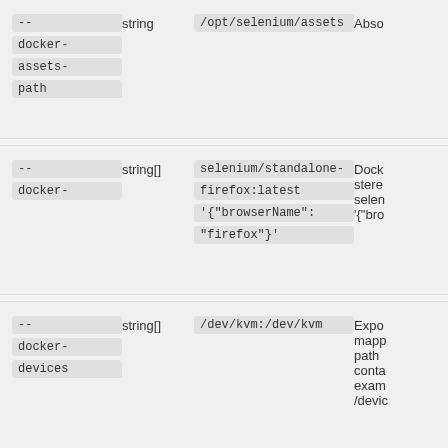| Flag | Type | Default | Description |
| --- | --- | --- | --- |
| --
docker-
assets-
path | string | /opt/selenium/assets | Abso... |
| --
docker- | string[] | selenium/standalone-
firefox:latest
'{"browserName":
"firefox"}' | Dock
stere
selen
'{"bro... |
| --
docker-
devices | string[] | /dev/kvm:/dev/kvm | Expo
mapp
path
conta
exam
/devic... |